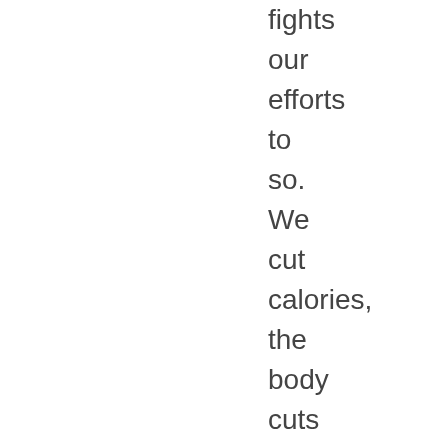fights our efforts to so. We cut calories, the body cuts metabolism to match, and maybe even then some, so the weight stays on. We don't keep